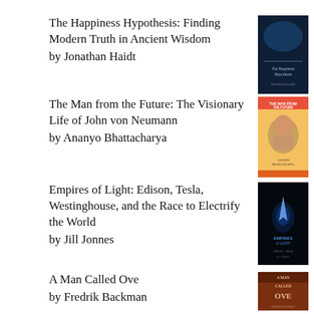The Happiness Hypothesis: Finding Modern Truth in Ancient Wisdom
by Jonathan Haidt
[Figure (photo): Book cover of The Happiness Hypothesis by Jonathan Haidt - dark blue cover]
The Man from the Future: The Visionary Life of John von Neumann
by Ananyo Bhattacharya
[Figure (photo): Book cover of The Man from the Future by Ananyo Bhattacharya - orange cover with face]
Empires of Light: Edison, Tesla, Westinghouse, and the Race to Electrify the World
by Jill Jonnes
[Figure (photo): Book cover of Empires of Light by Jill Jonnes - dark cover with blue light]
A Man Called Ove
by Fredrik Backman
[Figure (photo): Book cover of A Man Called Ove by Fredrik Backman - warm toned cover]